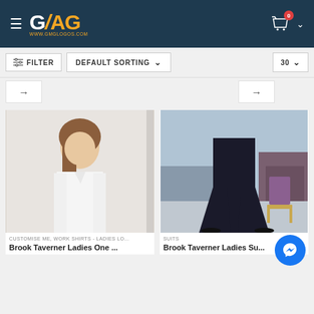[Figure (screenshot): E-commerce website header with GMAG logo on dark navy background, hamburger menu icon, shopping cart icon with red badge showing 0, and dropdown chevron]
[Figure (screenshot): Filter bar with FILTER button, DEFAULT SORTING dropdown, and 30 count dropdown]
[Figure (screenshot): Navigation arrow row with two arrow boxes]
[Figure (photo): Woman wearing white long-sleeve button-up shirt, holding collar, light background]
CUSTOMISE ME, WORK SHIRTS - LADIES LO...
Brook Taverner Ladies One ...
[Figure (photo): Lower body of person wearing black wide-leg trousers in a public space with chairs in background]
SUITS
Brook Taverner Ladies Su...